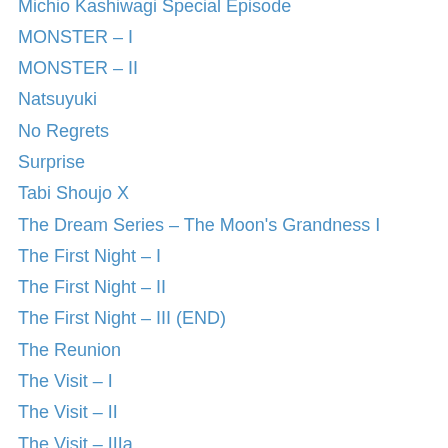Michio Kashiwagi Special Episode
MONSTER – I
MONSTER – II
Natsuyuki
No Regrets
Surprise
Tabi Shoujo X
The Dream Series – The Moon's Grandness I
The First Night – I
The First Night – II
The First Night – III (END)
The Reunion
The Visit – I
The Visit – II
The Visit – IIIa
The Visit – IIIb (END)
Triple Hearts
Tropical Valentine – I
Tropical Valentine – II
Tropical Valentine – III